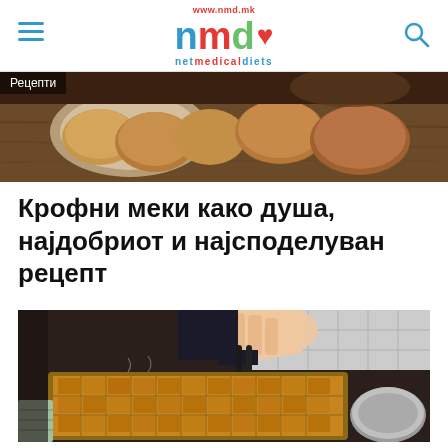www.nmd.mk | nmd netmedicaldiets
[Figure (photo): Food photo showing baked bread rolls on a wooden surface with a decorative plate]
Рецепти
Крофни меки како душа, најдобриот и најсподeлуван рецепт
[Figure (photo): Person holding tongs over a baking tray filled with small square doughnuts/pastries, with a steel bowl visible to the right]